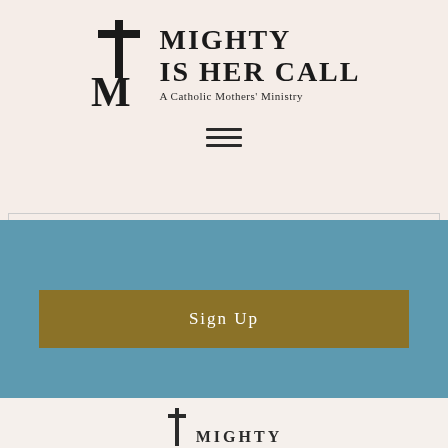[Figure (logo): Mighty Is Her Call logo — a cross and M symbol next to bold text reading MIGHTY IS HER CALL with subtitle A Catholic Mothers' Ministry]
[Figure (other): Hamburger menu icon — three horizontal lines centered on the cream background]
[Figure (other): Blue section with a gold/brown Sign Up button]
[Figure (logo): Partial footer logo showing a cross and the beginning of MIGHTY text on a light beige background]